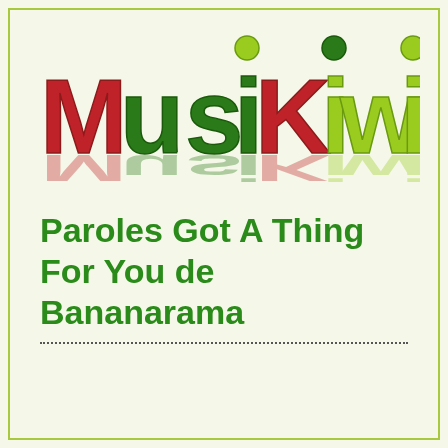[Figure (logo): MusiKiwi logo with colorful stylized letters — M and K in dark red/crimson, u, s, i, i, w, i in various greens (dark green and light green), with reflection effect below]
Paroles Got A Thing For You de Bananarama